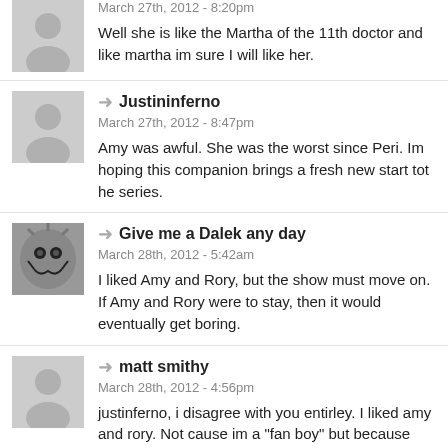March 27th, 2012 - 8:20pm
Well she is like the Martha of the 11th doctor and like martha im sure I will like her.
Justininferno
March 27th, 2012 - 8:47pm
Amy was awful. She was the worst since Peri. Im hoping this companion brings a fresh new start tot he series.
Give me a Dalek any day
March 28th, 2012 - 5:42am
I liked Amy and Rory, but the show must move on. If Amy and Rory were to stay, then it would eventually get boring.
matt smithy
March 28th, 2012 - 4:56pm
justinferno, i disagree with you entirley. I liked amy and rory. Not cause im a "fan boy" but because they are casted well and have good characters/personnality. I'm not "glad" that they are